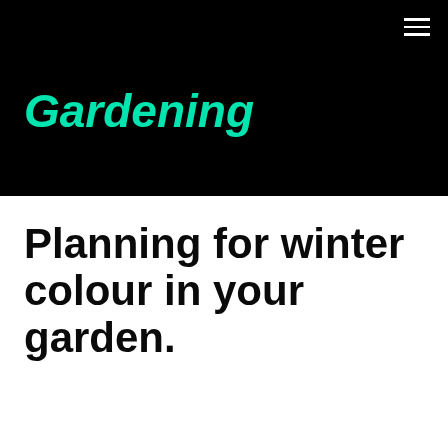Gardening
Planning for winter colour in your garden.